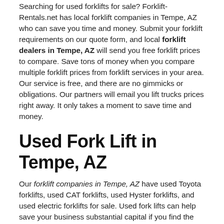Searching for used forklifts for sale? Forklift-Rentals.net has local forklift companies in Tempe, AZ who can save you time and money. Submit your forklift requirements on our quote form, and local forklift dealers in Tempe, AZ will send you free forklift prices to compare. Save tons of money when you compare multiple forklift prices from forklift services in your area. Our service is free, and there are no gimmicks or obligations. Our partners will email you lift trucks prices right away. It only takes a moment to save time and money.
Used Fork Lift in Tempe, AZ
Our forklift companies in Tempe, AZ have used Toyota forklifts, used CAT forklifts, used Hyster forklifts, and used electric forklifts for sale. Used fork lifts can help save your business substantial capital if you find the right pre-owned forklift. Forklift-Rentals.net has partners with thousands of used forklifts for sale. Submit your request today to